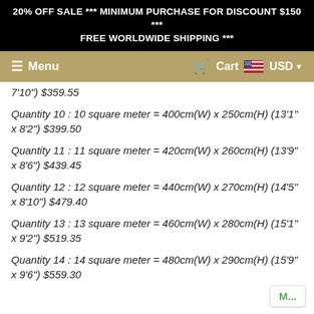20% OFF SALE *** MINIMUM PURCHASE FOR DISCOUNT $150 *** FREE WORLDWIDE SHIPPING ***
Menu   Cart   USD
7'10") $359.55
Quantity 10 :  10 square meter = 400cm(W) x 250cm(H) (13'1" x 8'2") $399.50
Quantity 11 : 11 square meter = 420cm(W) x 260cm(H) (13'9" x 8'6") $439.45
Quantity 12 : 12 square meter = 440cm(W) x 270cm(H) (14'5" x 8'10") $479.40
Quantity 13 : 13 square meter = 460cm(W) x 280cm(H) (15'1" x 9'2") $519.35
Quantity 14 : 14 square meter = 480cm(W) x 290cm(H) (15'9" x 9'6") $559.30
M...